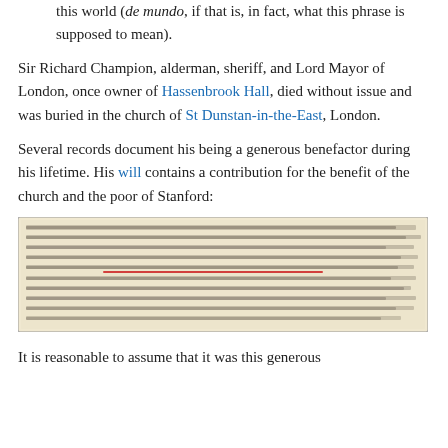this world (de mundo, if that is, in fact, what this phrase is supposed to mean).
Sir Richard Champion, alderman, sheriff, and Lord Mayor of London, once owner of Hassenbrook Hall, died without issue and was buried in the church of St Dunstan-in-the-East, London.
Several records document his being a generous benefactor during his lifetime. His will contains a contribution for the benefit of the church and the poor of Stanford:
[Figure (photo): A scanned image of a historical manuscript/will document in old handwriting with a red underline highlighting a specific line of text.]
It is reasonable to assume that it was this generous